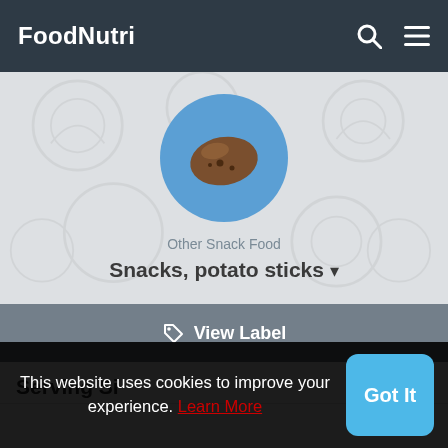FoodNutri
[Figure (illustration): Circular blue icon with a cartoon potato/potato stick illustration, displayed on a light grey patterned background]
Other Snack Food
Snacks, potato sticks ▾
View Label
Serving Si...
This website uses cookies to improve your experience. Learn More
Got It